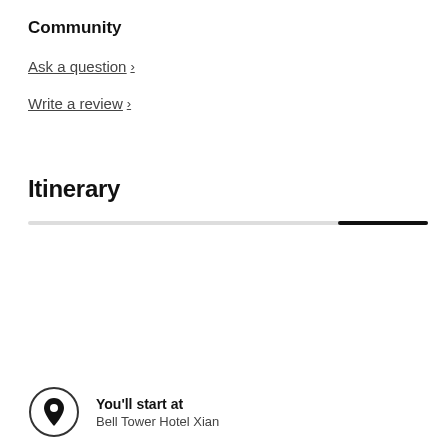Community
Ask a question >
Write a review >
Itinerary
You'll start at
Bell Tower Hotel Xian